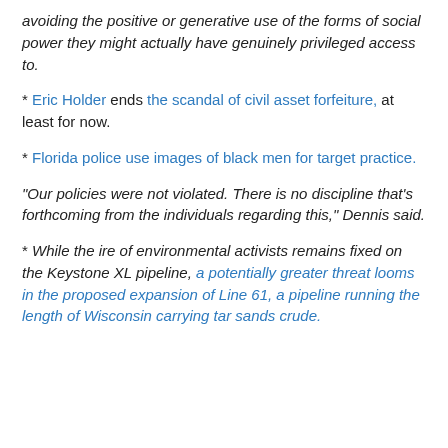avoiding the positive or generative use of the forms of social power they might actually have genuinely privileged access to.
* Eric Holder ends the scandal of civil asset forfeiture, at least for now.
* Florida police use images of black men for target practice.
“Our policies were not violated. There is no discipline that’s forthcoming from the individuals regarding this,” Dennis said.
* While the ire of environmental activists remains fixed on the Keystone XL pipeline, a potentially greater threat looms in the proposed expansion of Line 61, a pipeline running the length of Wisconsin carrying tar sands crude.